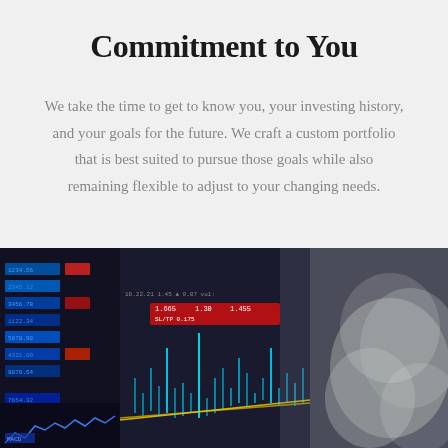Commitment to You
We take the time to get to know you, your investing history, and your goals for the future. We craft a custom portfolio that is best suited to pursue those goals while also remaining flexible to adjust to your changing needs.
[Figure (photo): Close-up photo of a financial trading screen showing stock market charts with candlestick patterns, price data, and blurred background with a person holding documents]